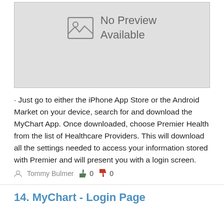[Figure (screenshot): No Preview Available placeholder image with a landscape icon and text]
· Just go to either the iPhone App Store or the Android Market on your device, search for and download the MyChart App. Once downloaded, choose Premier Health from the list of Healthcare Providers. This will download all the settings needed to access your information stored with Premier and will present you with a login screen.
Tommy Bulmer  👍 0  👎 0
14. MyChart - Login Page